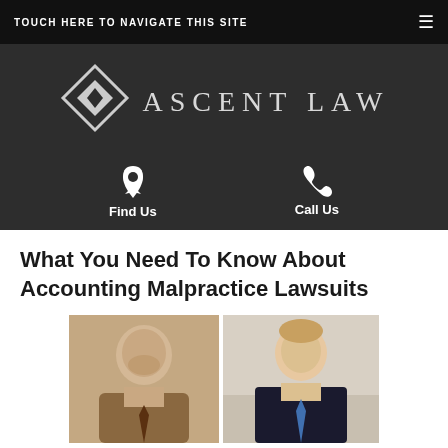TOUCH HERE TO NAVIGATE THIS SITE
[Figure (logo): Ascent Law logo with diamond/chevron icon and text 'ASCENT LAW' on dark background, with Find Us and Call Us contact options below]
What You Need To Know About Accounting Malpractice Lawsuits
[Figure (photo): Two headshot photos of attorneys side by side - left photo in sepia/black and white showing a heavyset smiling man in suit and tie, right photo in color showing a smiling blond man in dark suit with blue tie]